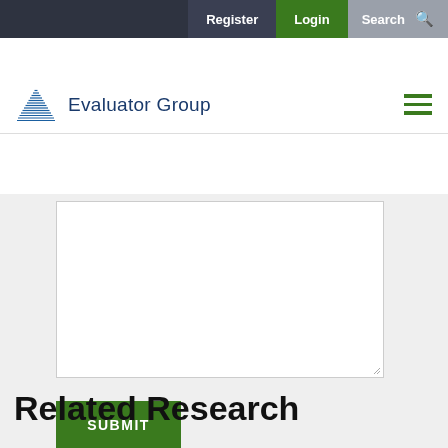Register  Login  Search
[Figure (logo): Evaluator Group logo with pyramid icon and text 'Evaluator Group']
[Figure (screenshot): A web form textarea input field with a resize handle in the bottom right corner]
SUBMIT
Related Research